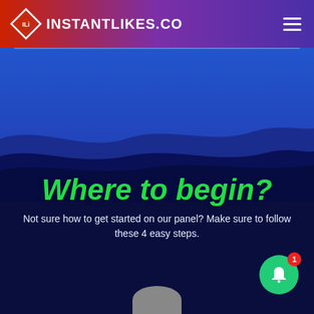INSTANTLIKES.CO
[Figure (illustration): Website screenshot showing InstantLikes.co header with logo and hamburger menu, blue gradient wave background, and section heading]
Where to begin?
Not sure how to get started on our panel? Make sure to follow these 4 easy steps.